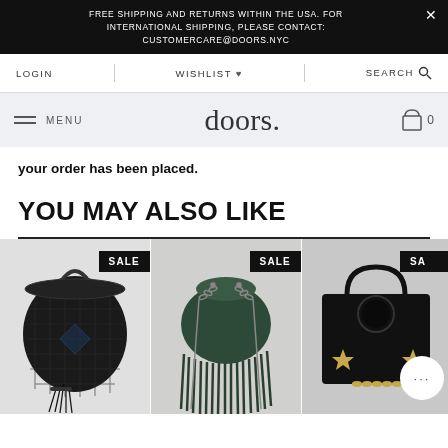FREE SHIPPING AND RETURNS WITHIN THE USA. FOR INTERNATIONAL SHIPPING, PLEASE CONTACT: CUSTOMERCARE@DOORS.NYC
LOGIN | WISHLIST ♥ | SEARCH 🔍
≡ MENU  doors.  🛍 0
your order has been placed.
YOU MAY ALSO LIKE
[Figure (photo): Three handbags shown in a product grid, each with a SALE badge. Left: black woven bucket bag with tassel. Center: dark green fringed bucket bag with chain. Right (partially visible): black structured box bag with gold star embellishments.]